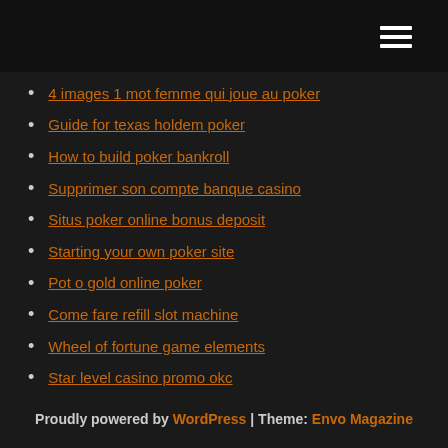[hamburger menu icon]
4 images 1 mot femme qui joue au poker
Guide for texas holdem poker
How to build poker bankroll
Supprimer son compte banque casino
Situs poker online bonus deposit
Starting your own poker site
Pot o gold online poker
Come fare refill slot machine
Wheel of fortune game elements
Star level casino promo okc
Lotro change legendary item slot
Proudly powered by WordPress | Theme: Envo Magazine